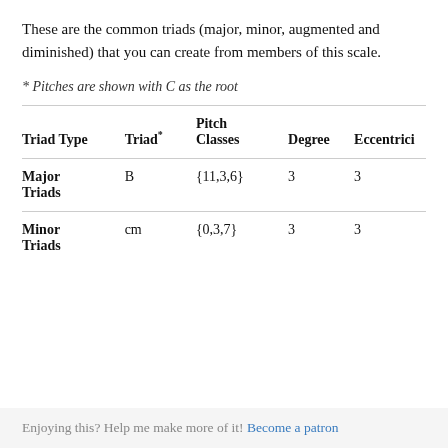These are the common triads (major, minor, augmented and diminished) that you can create from members of this scale.
* Pitches are shown with C as the root
| Triad Type | Triad* | Pitch Classes | Degree | Eccentricity |
| --- | --- | --- | --- | --- |
| Major Triads | B | {11,3,6} | 3 | 3 |
| Minor Triads | cm | {0,3,7} | 3 | 3 |
Enjoying this? Help me make more of it! Become a patron